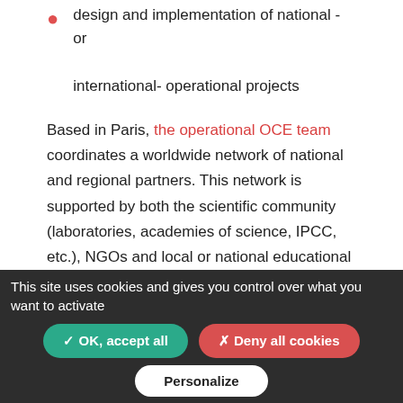design and implementation of national - or international- operational projects
Based in Paris, the operational OCE team coordinates a worldwide network of national and regional partners. This network is supported by both the scientific community (laboratories, academies of science, IPCC, etc.), NGOs and local or national educational authorities. This community of practice, accompanied by the OCE, ensures that schools get moving to face future challenges in a sustainable and holistic way, deeply rooted in their social environment and local communities.
This site uses cookies and gives you control over what you want to activate  ✓ OK, accept all  ✗ Deny all cookies  Personalize